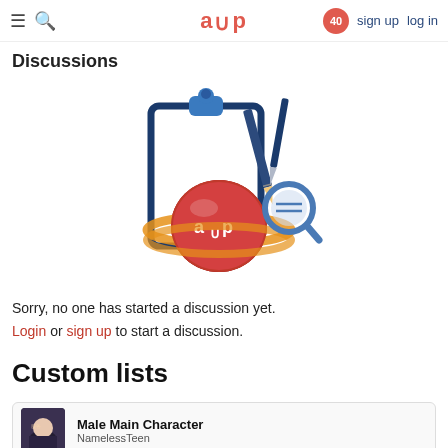≡  🔍  aup  40  sign up  log in
Discussions
[Figure (illustration): AUP planet mascot logo with clipboard, pencil, pen, and magnifying glass illustration]
Sorry, no one has started a discussion yet. Login or sign up to start a discussion.
Custom lists
Male Main Character
NamelessTeen